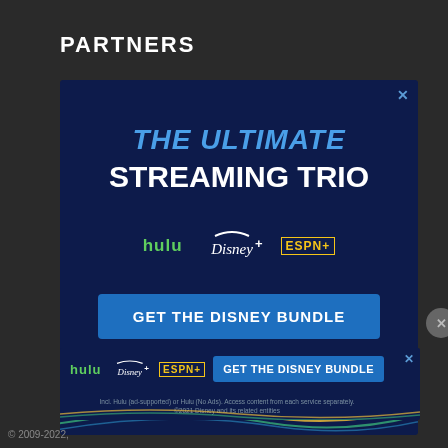PARTNERS
[Figure (screenshot): Disney Bundle advertisement. Main ad card on dark navy background showing 'THE ULTIMATE STREAMING TRIO' with Hulu, Disney+, and ESPN+ logos, a 'GET THE DISNEY BUNDLE' button, and fine print about access. Below is a bottom banner ad repeating the logos and bundle button. Background is dark charcoal.]
© 2009-2022,